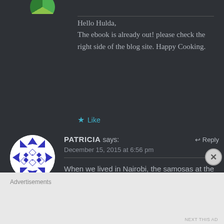Hello Hulda,
The ebook is already out! please check the right side of the blog site. Happy Cooking.
Like
PATRICIA says:
December 15, 2015 at 6:56 pm
↩ Reply
When we lived in Nairobi, the samosas at the Thorn Tree did not have peas in
Advertisements